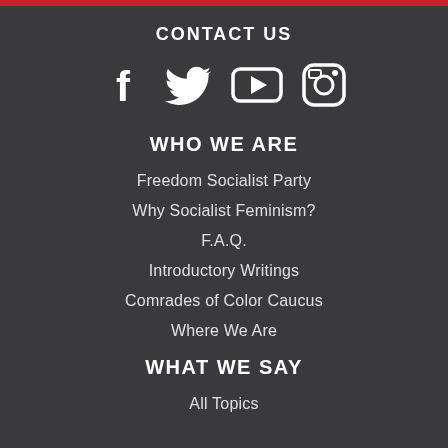CONTACT US
[Figure (illustration): Four social media icons: Facebook (f), Twitter (bird), YouTube (play button in rounded rectangle), Instagram (camera)]
WHO WE ARE
Freedom Socialist Party
Why Socialist Feminism?
F.A.Q.
Introductory Writings
Comrades of Color Caucus
Where We Are
WHAT WE SAY
All Topics